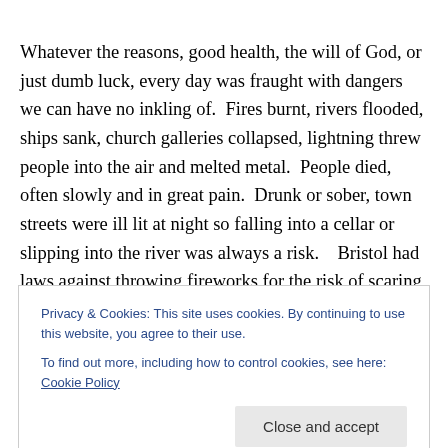Whatever the reasons, good health, the will of God, or just dumb luck, every day was fraught with dangers we can have no inkling of.  Fires burnt, rivers flooded, ships sank, church galleries collapsed, lightning threw people into the air and melted metal.  People died, often slowly and in great pain.  Drunk or sober, town streets were ill lit at night so falling into a cellar or slipping into the river was always a risk.   Bristol had laws against throwing fireworks for the risk of scaring horses.  One man was killed when a boy
Privacy & Cookies: This site uses cookies. By continuing to use this website, you agree to their use.
To find out more, including how to control cookies, see here: Cookie Policy
occupations.  Farmers could be gored by bulls, fall off